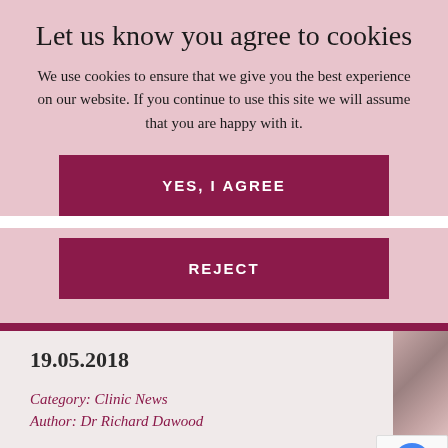Let us know you agree to cookies
We use cookies to ensure that we give you the best experience on our website. If you continue to use this site we will assume that you are happy with it.
YES, I AGREE
REJECT
19.05.2018
Category: Clinic News
Author: Dr Richard Dawood
SHARE THIS ARTICLE